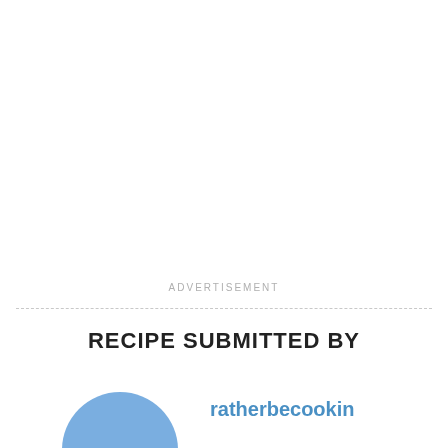ADVERTISEMENT
RECIPE SUBMITTED BY
[Figure (illustration): Blue cartoon avatar character with two dark eyes, rounded head shape, used as user profile picture]
ratherbecookin